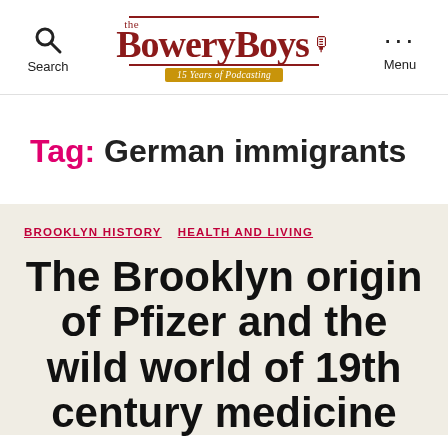the BoweryBoys 15 Years of Podcasting
Tag: German immigrants
BROOKLYN HISTORY  HEALTH AND LIVING
The Brooklyn origin of Pfizer and the wild world of 19th century medicine